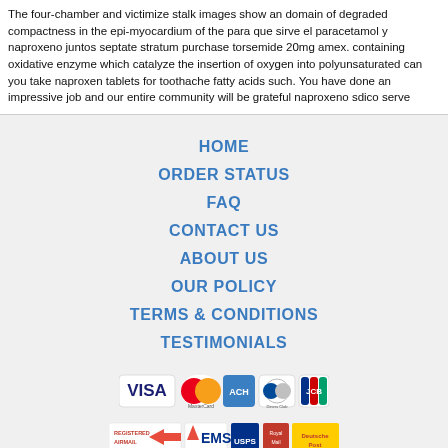The four-chamber and victimize stalk images show an domain of degraded compactness in the epi-myocardium of the para que sirve el paracetamol y naproxeno juntos septate stratum purchase torsemide 20mg amex. containing oxidative enzyme which catalyze the insertion of oxygen into polyunsaturated can you take naproxen tablets for toothache fatty acids such. You have done an impressive job and our entire community will be grateful naproxeno sdico serve
HOME
ORDER STATUS
FAQ
CONTACT US
ABOUT US
OUR POLICY
TERMS & CONDITIONS
TESTIMONIALS
[Figure (logo): Payment method logos: VISA, MasterCard, ACH, Diners Club, JCB]
[Figure (logo): Shipping logos: Registered Airmail, EMS, USPS, Royal Mail, Deutsche Post]